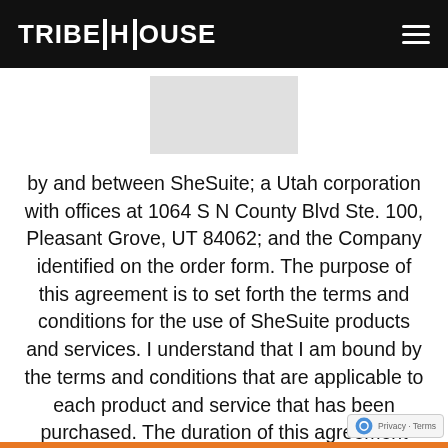TRIBE HOUSE
[Figure (other): Light gray rectangular image placeholder]
by and between SheSuite; a Utah corporation with offices at 1064 S N County Blvd Ste. 100, Pleasant Grove, UT 84062; and the Company identified on the order form. The purpose of this agreement is to set forth the terms and conditions for the use of SheSuite products and services. I understand that I am bound by the terms and conditions that are applicable to each product and service that has been purchased. The duration of this agreement shall extend one year from the printed date above. SheSuite Membership will continue month to